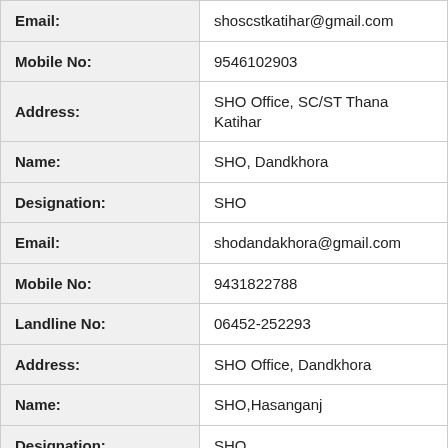| Field | Value |
| --- | --- |
| Email: | shoscstkatihar@gmail.com |
| Mobile No: | 9546102903 |
| Address: | SHO Office, SC/ST Thana Katihar |
| Name: | SHO, Dandkhora |
| Designation: | SHO |
| Email: | shodandakhora@gmail.com |
| Mobile No: | 9431822788 |
| Landline No: | 06452-252293 |
| Address: | SHO Office, Dandkhora |
| Name: | SHO,Hasanganj |
| Designation: | SHO |
| Mobile No: | 9473378524 |
| Address: | SHO Office,Hasanganj |